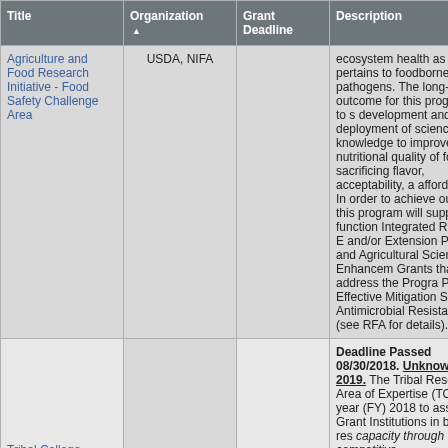| Title | Organization ▲ | Grant Deadline | Description |
| --- | --- | --- | --- |
| Agriculture and Food Research Initiative - Food Safety Challenge Area | USDA, NIFA |  | ecosystem health as it pertains to foodborne pathogens. The long-term outcome for this program is to support development and deployment of science-based knowledge to improve the safety and nutritional quality of food without sacrificing flavor, acceptability, and affordability. In order to achieve this outcome, this program will support multi-function Integrated Research, Education, and/or Extension Projects, and Agricultural Science Enhancement Grants that address the Program Area Priority, Effective Mitigation Strategies for Antimicrobial Resistance (see RFA for details). |
| Tribal College |  |  | Deadline Passed 08/30/2018. Unknown for 2019. The Tribal College Research Area of Expertise (TCRAE) in fiscal year (FY) 2018 to assist 1994 Grant Institutions in building research capacity through competitive... |